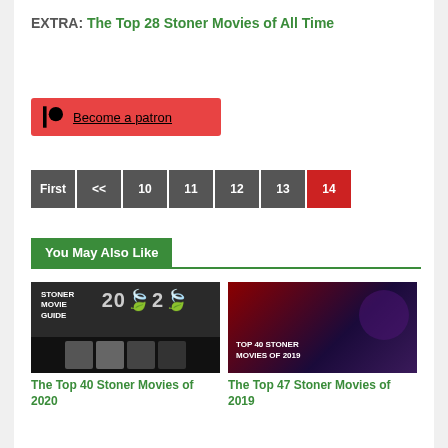EXTRA: The Top 28 Stoner Movies of All Time
Become a patron
First << 10 11 12 13 14
You May Also Like
[Figure (photo): Stoner Movie Guide 2020 promotional image with film strip]
The Top 40 Stoner Movies of 2020
[Figure (photo): Top 40 Stoner Movies of 2019 promotional image with person sitting in theater]
The Top 47 Stoner Movies of 2019